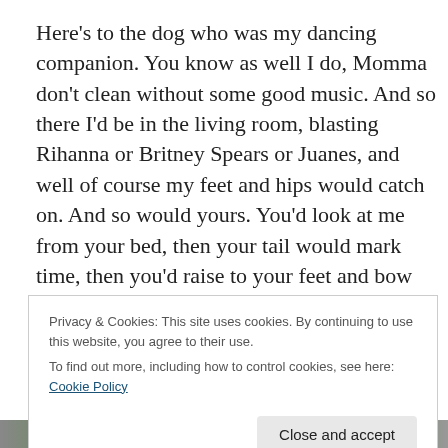Here's to the dog who was my dancing companion. You know as well I do, Momma don't clean without some good music. And so there I'd be in the living room, blasting Rihanna or Britney Spears or Juanes, and well of course my feet and hips would catch on. And so would yours. You'd look at me from your bed, then your tail would mark time, then you'd raise to your feet and bow your chest to the...
Privacy & Cookies: This site uses cookies. By continuing to use this website, you agree to their use.
To find out more, including how to control cookies, see here: Cookie Policy
[Figure (photo): Partial view of a nature/outdoor photograph at bottom of page]